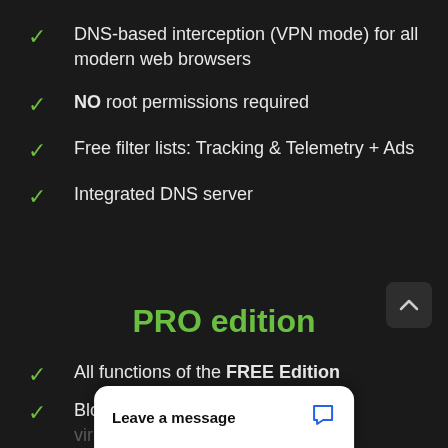DNS-based interception (VPN mode) for all modern web browsers
NO root permissions required
Free filter lists: Tracking & Telemetry + Ads
Integrated DNS server
PRO edition
All functions of the FREE Edition
Blocks websites that distribute viruses, and fraud